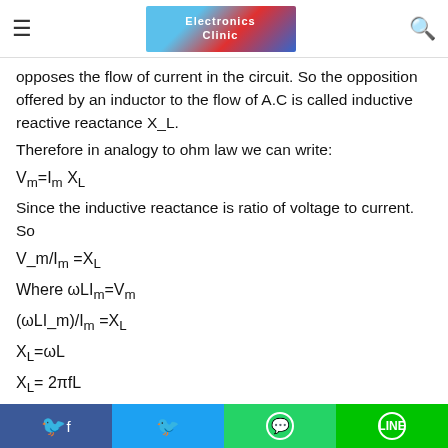Electronics Clinic
delay the increase or decrease of current in the circuit. This cause the current to lag the applied voltage which is indicated by the inductance. Inductance opposes the flow of current in the circuit. So the opposition offered by an inductor to the flow of A.C is called inductive reactive reactance X_L.
Therefore in analogy to ohm law we can write:
Since the inductive reactance is ratio of voltage to current. So
The reactance of coil depends upon frequency of A.C. in
Facebook Twitter WhatsApp LINE